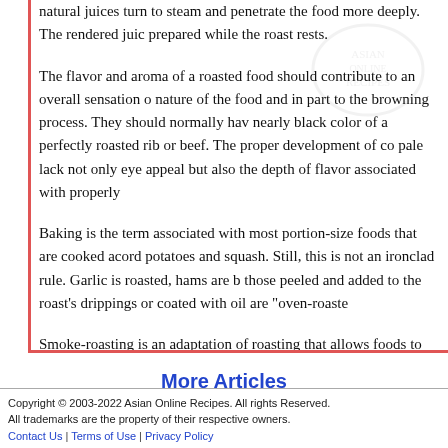natural juices turn to steam and penetrate the food more deeply. The rendered juic prepared while the roast rests.
The flavor and aroma of a roasted food should contribute to an overall sensation of nature of the food and in part to the browning process. They should normally hav nearly black color of a perfectly roasted rib or beef. The proper development of co pale lack not only eye appeal but also the depth of flavor associated with properly
Baking is the term associated with most portion-size foods that are cooked accord potatoes and squash. Still, this is not an ironclad rule. Garlic is roasted, hams are b those peeled and added to the roast's drippings or coated with oil are "oven-roaste
Smoke-roasting is an adaptation of roasting that allows foods to take on a rich, sm closed roasting pan or smoking setup. This can be done over an open flame or in t charcuterie operations, the food does not have to be brined and cured before smok Smoke-roasting does not preserve foods. As food left too long in the smoke bath d
More Articles
Copyright © 2003-2022 Asian Online Recipes. All rights Reserved.
All trademarks are the property of their respective owners.
Contact Us | Terms of Use | Privacy Policy